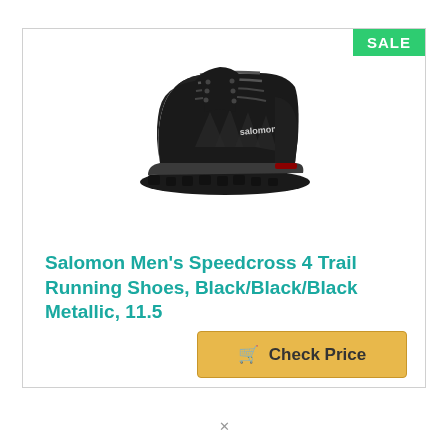[Figure (photo): Black Salomon Men's Speedcross 4 trail running shoe shown from the side, primarily black with minor red and metallic accents on the sole, Salomon branding visible on upper.]
Salomon Men's Speedcross 4 Trail Running Shoes, Black/Black/Black Metallic, 11.5
Check Price